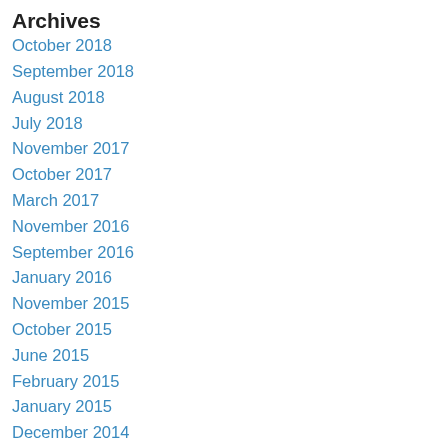Archives
October 2018
September 2018
August 2018
July 2018
November 2017
October 2017
March 2017
November 2016
September 2016
January 2016
November 2015
October 2015
June 2015
February 2015
January 2015
December 2014
November 2014
September 2014
August 2014